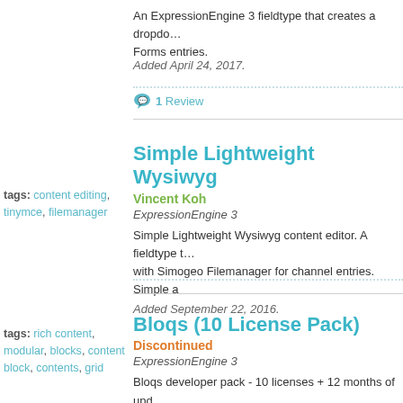An ExpressionEngine 3 fieldtype that creates a dropdown Forms entries.
Added April 24, 2017.
1 Review
tags: content editing, tinymce, filemanager
Simple Lightweight Wysiwyg
Vincent Koh
ExpressionEngine 3
Simple Lightweight Wysiwyg content editor. A fieldtype with Simogeo Filemanager for channel entries. Simple a
Added September 22, 2016.
tags: rich content, modular, blocks, content block, contents, grid
Bloqs (10 License Pack)
Discontinued
ExpressionEngine 3
Bloqs developer pack - 10 licenses + 12 months of upda
Added September 8, 2016.